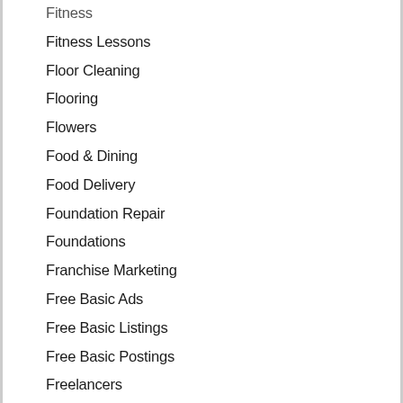Fitness
Fitness Lessons
Floor Cleaning
Flooring
Flowers
Food & Dining
Food Delivery
Foundation Repair
Foundations
Franchise Marketing
Free Basic Ads
Free Basic Listings
Free Basic Postings
Freelancers
Frugal
Fundraisers